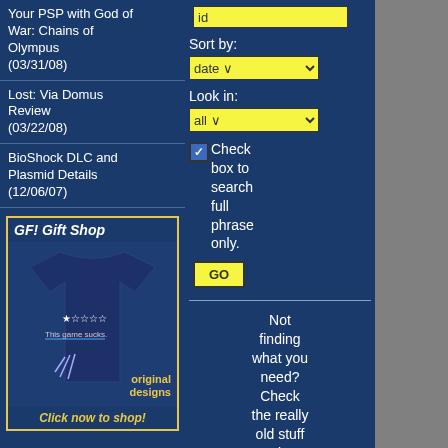Your PSP with God of War: Chains of Olympus (03/31/08)
Lost: Via Domus Review (03/22/08)
BioShock DLC and Plasmid Details (12/06/07)
[Figure (screenshot): GF! Gift Shop advertisement with a navy t-shirt with star rating graphic and 'This game sucks' text, with 'original designs' label and 'Click now to shop!' button]
Recent Hits
Greatest Hits
id
Sort by: date
Look in: all
Check box to search full phrase only.
GO
Not finding what you need? Check the really old stuff using Google!